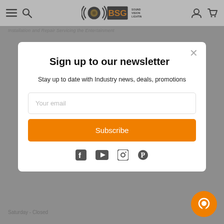[Figure (screenshot): BSG Sound Vision Lighting website navigation bar with hamburger menu, search icon, BSG logo, user account icon, and cart icon]
Sign up to our newsletter
Stay up to date with Industry news, deals, promotions
Your email
Subscribe
[Figure (other): Social media icons: Facebook, YouTube, Instagram, Pinterest]
Saturday - Closed